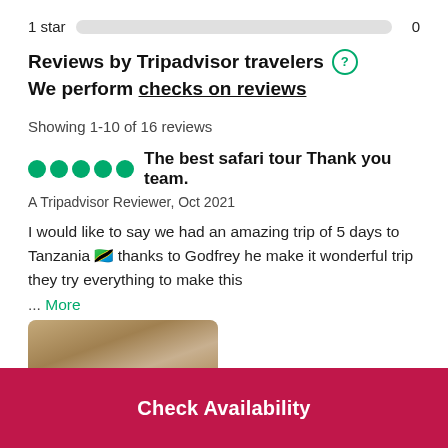1 star   0
Reviews by Tripadvisor travelers ? We perform checks on reviews
Showing 1-10 of 16 reviews
The best safari tour Thank you team.
A Tripadvisor Reviewer, Oct 2021
I would like to say we had an amazing trip of 5 days to Tanzania 🇹🇿 thanks to Godfrey he make it wonderful trip they try everything to make this ... More
[Figure (photo): Partial photo of an animal (safari wildlife) at the bottom of the review]
Check Availability